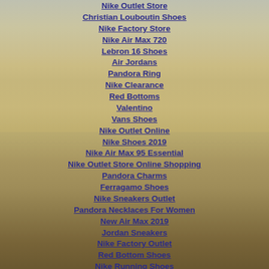Nike Outlet Store
Christian Louboutin Shoes
Nike Factory Store
Nike Air Max 720
Lebron 16 Shoes
Air Jordans
Pandora Ring
Nike Clearance
Red Bottoms
Valentino
Vans Shoes
Nike Outlet Online
Nike Shoes 2019
Nike Air Max 95 Essential
Nike Outlet Store Online Shopping
Pandora Charms
Ferragamo Shoes
Nike Sneakers Outlet
Pandora Necklaces For Women
New Air Max 2019
Jordan Sneakers
Nike Factory Outlet
Red Bottom Shoes
Nike Running Shoes
Nike Huarache Men
Pandora
Ferragamo Shoes
Ultra Boost Adidas
Pandora Jewelry Store